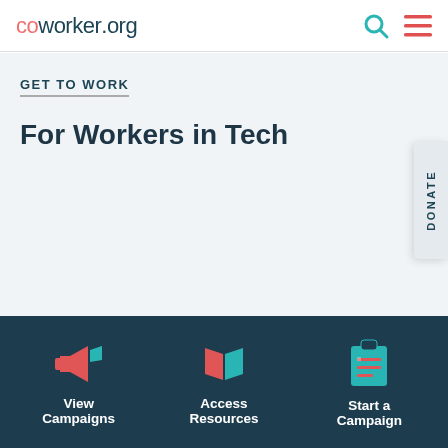coworker.org
GET TO WORK
For Workers in Tech
View Campaigns
Access Resources
Start a Campaign